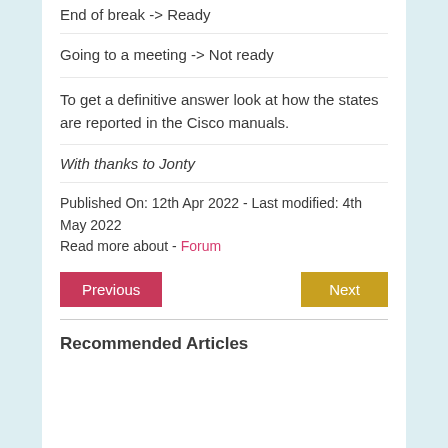End of break -> Ready
Going to a meeting -> Not ready
To get a definitive answer look at how the states are reported in the Cisco manuals.
With thanks to Jonty
Published On: 12th Apr 2022 - Last modified: 4th May 2022
Read more about - Forum
Previous
Next
Recommended Articles